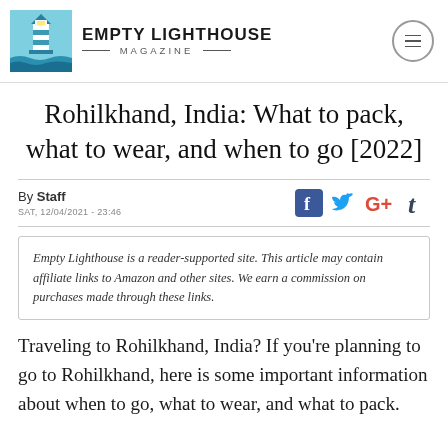EMPTY LIGHTHOUSE MAGAZINE
Rohilkhand, India: What to pack, what to wear, and when to go [2022]
By Staff
SAT, 12/04/2021 - 23:46
Empty Lighthouse is a reader-supported site. This article may contain affiliate links to Amazon and other sites. We earn a commission on purchases made through these links.
Traveling to Rohilkhand, India? If you're planning to go to Rohilkhand, here is some important information about when to go, what to wear, and what to pack.